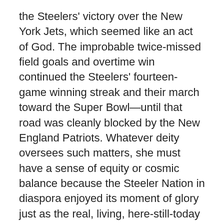the Steelers' victory over the New York Jets, which seemed like an act of God. The improbable twice-missed field goals and overtime win continued the Steelers' fourteen-game winning streak and their march toward the Super Bowl—until that road was cleanly blocked by the New England Patriots. Whatever deity oversees such matters, she must have a sense of equity or cosmic balance because the Steeler Nation in diaspora enjoyed its moment of glory just as the real, living, here-still-today city of Pittsburgh, near bankruptcy, suffered humiliation and dismemberment.
The Steelers epitomize the blue-collar ethic of hard work, self-sacrifice, loyalty, and teamwork that remain highly valued here. The city itself has not been so lucky; its once-vibrant neighborhood network of pools and recreation and senior citizen centers have been largely closed for three years. Its respected sanitation workers, firefighters, and police are facing privatization